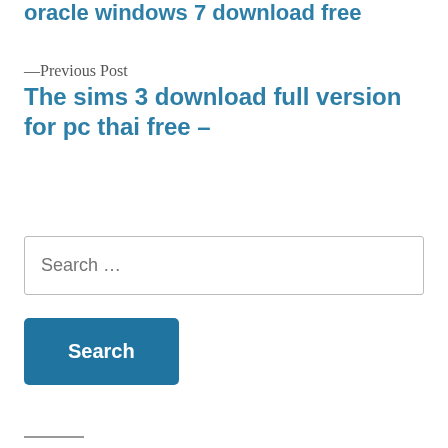oracle windows 7 download free
—Previous Post
The sims 3 download full version for pc thai free –
Search …
Search